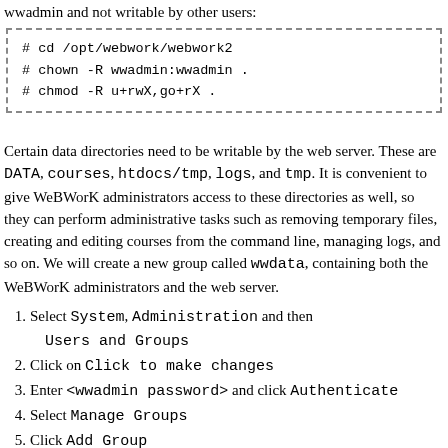wwadmin and not writable by other users:
# cd /opt/webwork/webwork2
# chown -R wwadmin:wwadmin .
# chmod -R u+rwX,go+rX .
Certain data directories need to be writable by the web server. These are DATA, courses, htdocs/tmp, logs, and tmp. It is convenient to give WeBWorK administrators access to these directories as well, so they can perform administrative tasks such as removing temporary files, creating and editing courses from the command line, managing logs, and so on. We will create a new group called wwdata, containing both the WeBWorK administrators and the web server.
1. Select System, Administration and then Users and Groups
2. Click on Click to make changes
3. Enter <wwadmin password> and click Authenticate
4. Select Manage Groups
5. Click Add Group
6. For Group name enter wwdata
7. For Group ID enter 1001
8. Under Group Members check wwadmin and click OK